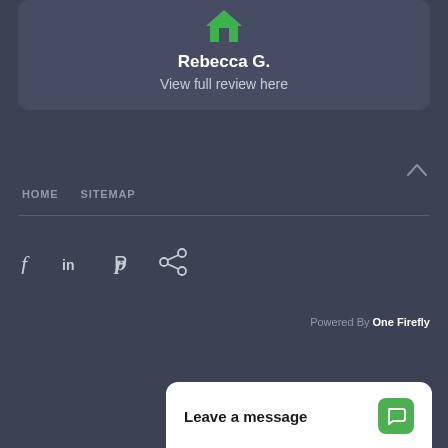[Figure (screenshot): Review card with green house icon, reviewer name Rebecca G., and link text 'View full review here']
Rebecca G.
View full review here
HOME   SITEMAP
[Figure (infographic): Social media icons: Facebook (f), LinkedIn (in), Pinterest (P), Share icon]
Powered By One Firefly
Leave a message